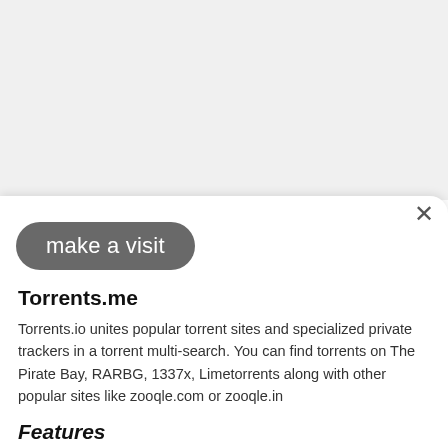[Figure (screenshot): Gray pill-shaped button with white text reading 'make a visit', and a close (×) button in the top right corner of a modal sheet]
Torrents.me
Torrents.io unites popular torrent sites and specialized private trackers in a torrent multi-search. You can find torrents on The Pirate Bay, RARBG, 1337x, Limetorrents along with other popular sites like zooqle.com or zooqle.in
Features